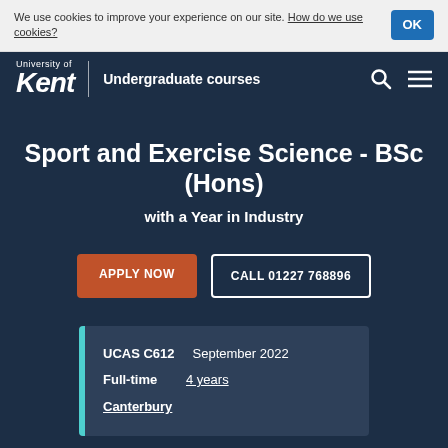We use cookies to improve your experience on our site. How do we use cookies?
University of Kent | Undergraduate courses
Sport and Exercise Science - BSc (Hons) with a Year in Industry
APPLY NOW
CALL 01227 768896
| Field | Value |
| --- | --- |
| UCAS | C612 |
|  | September 2022 |
| Full-time | 4 years |
| Canterbury |  |